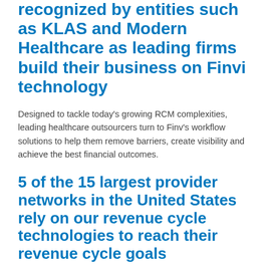recognized by entities such as KLAS and Modern Healthcare as leading firms build their business on Finvi technology
Designed to tackle today's growing RCM complexities, leading healthcare outsourcers turn to Finv's workflow solutions to help them remove barriers, create visibility and achieve the best financial outcomes.
5 of the 15 largest provider networks in the United States rely on our revenue cycle technologies to reach their revenue cycle goals
With hundreds of hospital network clients managing over